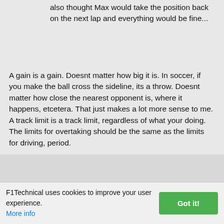also thought Max would take the position back on the next lap and everything would be fine...
A gain is a gain. Doesnt matter how big it is. In soccer, if you make the ball cross the sideline, its a throw. Doesnt matter how close the nearest opponent is, where it happens, etcetera. That just makes a lot more sense to me. A track limit is a track limit, regardless of what your doing. The limits for overtaking should be the same as the limits for driving, period.
What happens in soccer is irrelevant.
Track limits should be track limits. I don't think anyone disagrees. But the race director told the drivers in the briefing that T4 was ok to drive over the edge of the track except for when overtaking. Overtaking off track is never allowed. The race director actually changed the
F1Technical uses cookies to improve your user experience. More info
Got it!